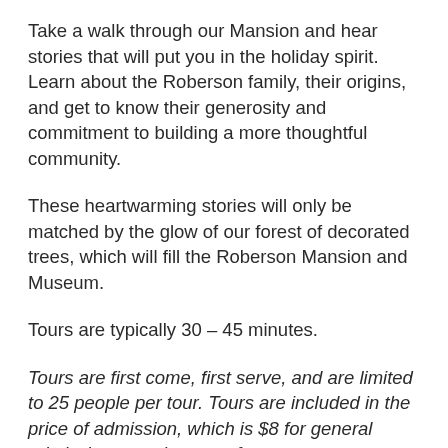Take a walk through our Mansion and hear stories that will put you in the holiday spirit. Learn about the Roberson family, their origins, and get to know their generosity and commitment to building a more thoughtful community.
These heartwarming stories will only be matched by the glow of our forest of decorated trees, which will fill the Roberson Mansion and Museum.
Tours are typically 30 – 45 minutes.
Tours are first come, first serve, and are limited to 25 people per tour. Tours are included in the price of admission, which is $8 for general admission; members are free.